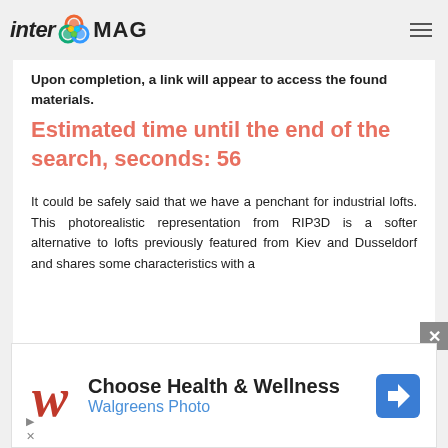inter MAG
Upon completion, a link will appear to access the found materials.
Estimated time until the end of the search, seconds: 56
It could be safely said that we have a penchant for industrial lofts. This photorealistic representation from RIP3D is a softer alternative to lofts previously featured from Kiev and Dusseldorf and shares some characteristics with a
[Figure (screenshot): Walgreens advertisement banner: Choose Health & Wellness, Walgreens Photo]